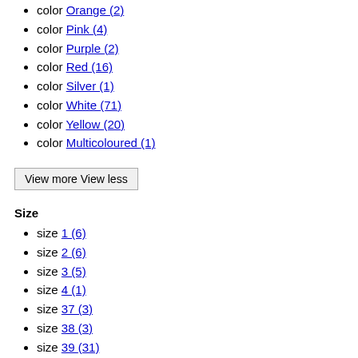color Orange (2)
color Pink (4)
color Purple (2)
color Red (16)
color Silver (1)
color White (71)
color Yellow (20)
color Multicoloured (1)
View more View less
Size
size 1 (6)
size 2 (6)
size 3 (5)
size 4 (1)
size 37 (3)
size 38 (3)
size 39 (31)
size 40 (31)
size 41 (30)
size 42 (30)
size 43 (29)
size 44 (34)